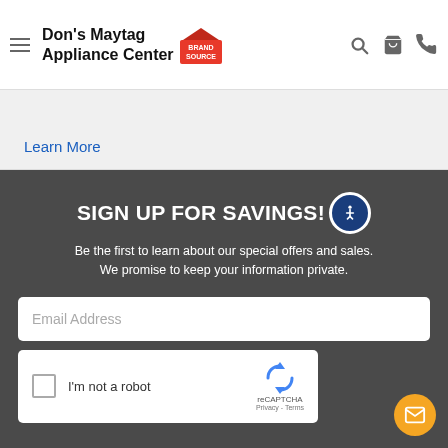Don's Maytag Appliance Center
Learn More
SIGN UP FOR SAVINGS!
Be the first to learn about our special offers and sales. We promise to keep your information private.
Email Address
I'm not a robot
reCAPTCHA
Privacy - Terms